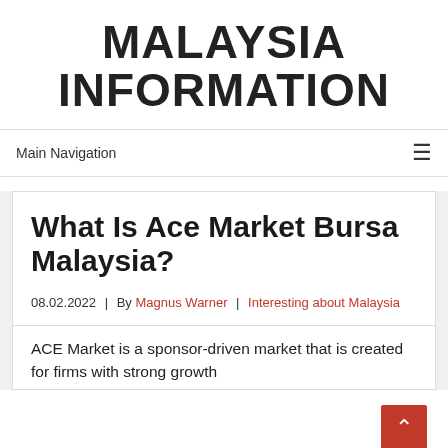MALAYSIA INFORMATION
Main Navigation
What Is Ace Market Bursa Malaysia?
08.02.2022  |  By Magnus Warner  |  Interesting about Malaysia
ACE Market is a sponsor-driven market that is created for firms with strong growth